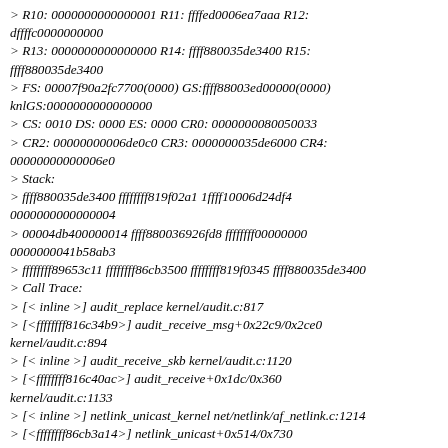> R10: 0000000000000001 R11: ffffed0006ea7aaa R12: dffffc0000000000
> R13: 0000000000000000 R14: ffff880035de3400 R15: ffff880035de3400
> FS: 00007f90a2fc7700(0000) GS:ffff88003ed00000(0000) knlGS:0000000000000000
> CS: 0010 DS: 0000 ES: 0000 CR0: 0000000080050033
> CR2: 00000000006de0c0 CR3: 0000000035de6000 CR4: 00000000000006e0
> Stack:
> ffff880035de3400 ffffffff819f02a1 1ffff10006d24df4 0000000000000004
> 00004db400000014 ffff880036926fd8 ffffffff00000000 0000000041b58ab3
> ffffffff89653c11 ffffffff86cb3500 ffffffff819f0345 ffff880035de3400
> Call Trace:
> [< inline >] audit_replace kernel/audit.c:817
> [<ffffffff816c34b9>] audit_receive_msg+0x22c9/0x2ce0 kernel/audit.c:894
> [< inline >] audit_receive_skb kernel/audit.c:1120
> [<ffffffff816c40ac>] audit_receive+0x1dc/0x360 kernel/audit.c:1133
> [< inline >] netlink_unicast_kernel net/netlink/af_netlink.c:1214
> [<ffffffff86cb3a14>] netlink_unicast+0x514/0x730